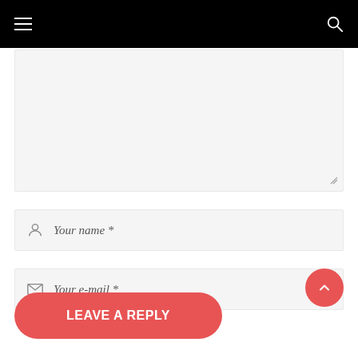Navigation header with hamburger menu and search icon
Comment textarea (empty)
Your name *
Your e-mail *
Leave A Reply